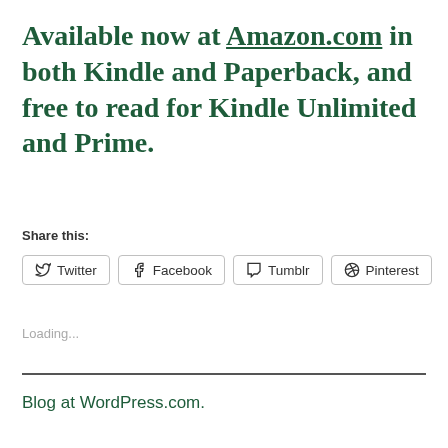Available now at Amazon.com in both Kindle and Paperback, and free to read for Kindle Unlimited and Prime.
Share this:
Twitter  Facebook  Tumblr  Pinterest
Loading...
Blog at WordPress.com.